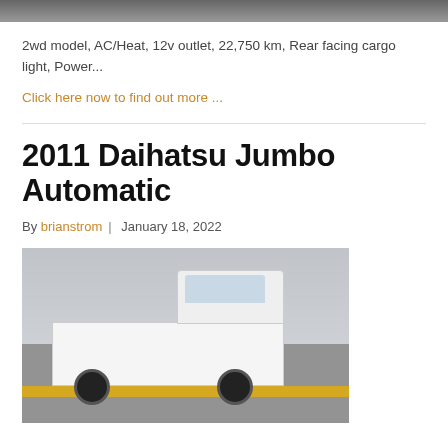[Figure (photo): Top portion of a vehicle photo, partially cropped]
2wd model, AC/Heat, 12v outlet, 22,750 km, Rear facing cargo light, Power...
Click here now to find out more ...
2011 Daihatsu Jumbo Automatic
By brianstrom | January 18, 2022
[Figure (photo): White Daihatsu Jumbo mini truck parked near waterfront, front 3/4 view]